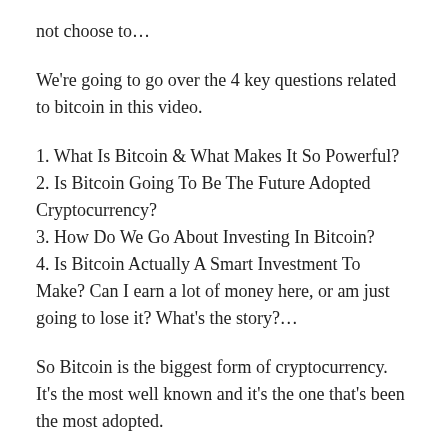not choose to…
We're going to go over the 4 key questions related to bitcoin in this video.
1. What Is Bitcoin & What Makes It So Powerful?
2. Is Bitcoin Going To Be The Future Adopted Cryptocurrency?
3. How Do We Go About Investing In Bitcoin?
4. Is Bitcoin Actually A Smart Investment To Make? Can I earn a lot of money here, or am just going to lose it? What's the story?…
So Bitcoin is the biggest form of cryptocurrency. It's the most well known and it's the one that's been the most adopted.
Now to understand cryptocurrency you first need to understand what money is. Money, is just an agreed upon